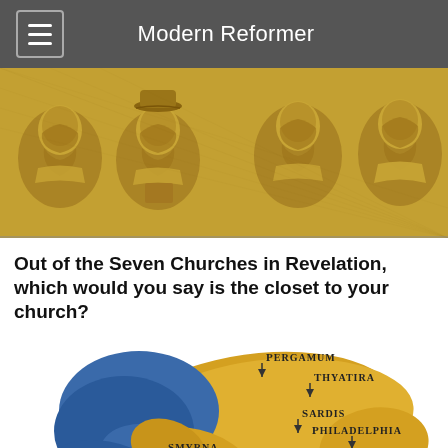Modern Reformer
[Figure (illustration): Sepia/gold-toned engraving-style illustration of four historical reformer figures, busts, facing viewer, detailed cross-hatching style.]
Out of the Seven Churches in Revelation, which would you say is the closet to your church?
[Figure (map): A map showing the seven churches of Revelation in Asia Minor (modern Turkey), rendered in gold and blue tones, with labels: Pergamum, Thyatira, Sardis, Philadelphia, Smyrna, Ephesus, Laodicea, with location markers.]